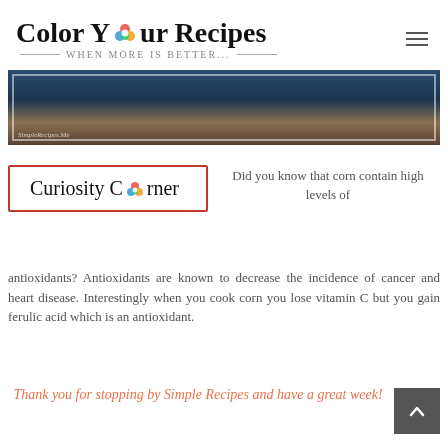Color Your Recipes — When More Is Better...
[Figure (photo): Cropped hero image with dark blue and brown tones, SimpleRecipes.Me watermark]
[Figure (logo): Curiosity Corner logo box with red border and flower icon]
Did you know that corn contain high levels of antioxidants? Antioxidants are known to decrease the incidence of cancer and heart disease. Interestingly when you cook corn you lose vitamin C but you gain ferulic acid which is an antioxidant.
Thank you for stopping by Simple Recipes and have a great week!